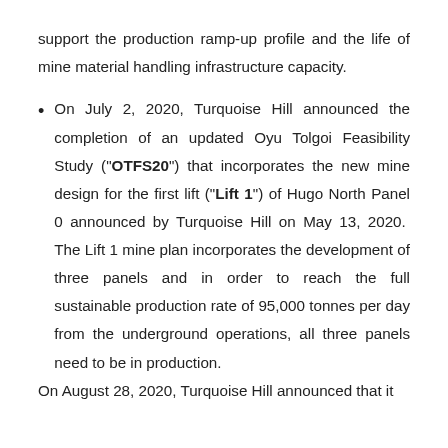support the production ramp-up profile and the life of mine material handling infrastructure capacity.
On July 2, 2020, Turquoise Hill announced the completion of an updated Oyu Tolgoi Feasibility Study ("OTFS20") that incorporates the new mine design for the first lift ("Lift 1") of Hugo North Panel 0 announced by Turquoise Hill on May 13, 2020. The Lift 1 mine plan incorporates the development of three panels and in order to reach the full sustainable production rate of 95,000 tonnes per day from the underground operations, all three panels need to be in production.
On August 28, 2020, Turquoise Hill announced that it